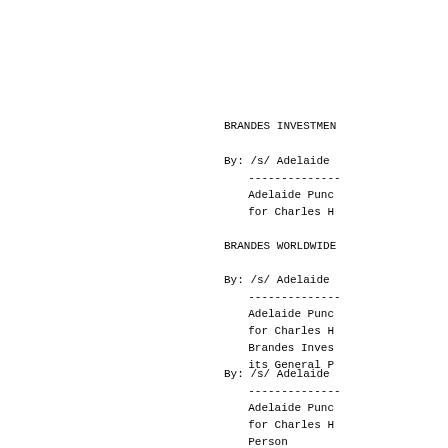BRANDES INVESTMENT
By: /s/ Adelaide
    --------------
    Adelaide Pund
    for Charles H
BRANDES WORLDWIDE
By: /s/ Adelaide
    --------------
    Adelaide Pund
    for Charles H
    Brandes Inves
    its General P
By: /s/ Adelaide
    --------------
    Adelaide Pund
    for Charles H
    Person